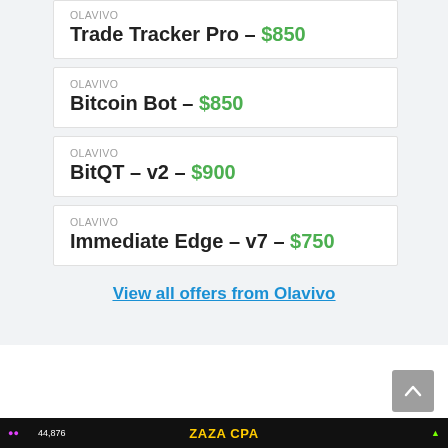OLAVIVO
Trade Tracker Pro – $850
OLAVIVO
Bitcoin Bot – $850
OLAVIVO
BitQT – v2 – $900
OLAVIVO
Immediate Edge – v7 – $750
View all offers from Olavivo
Advertisements